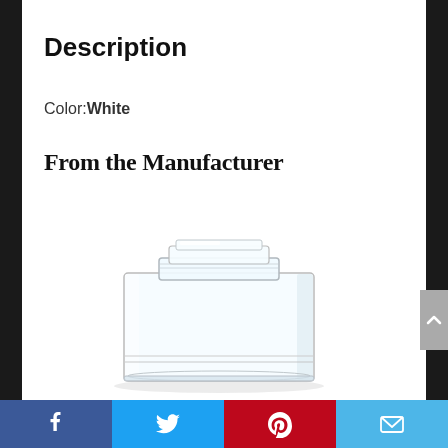Description
Color: White
From the Manufacturer
[Figure (photo): Clear/transparent cylindrical glass or plastic container with a stepped/ridged top and rounded cylindrical body, shown against a white background.]
Facebook | Twitter | Pinterest | Email